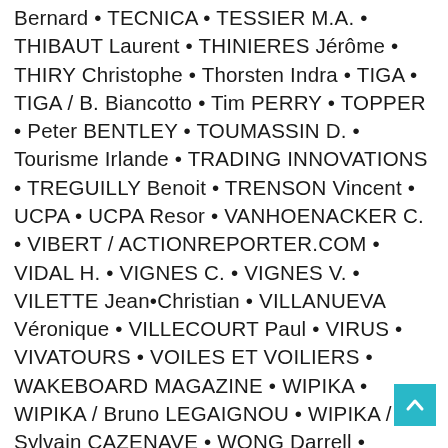Bernard • TECNICA • TESSIER M.A. • THIBAUT Laurent • THINIERES Jérôme • THIRY Christophe • Thorsten Indra • TIGA • TIGA / B. Biancotto • Tim PERRY • TOPPER • Peter BENTLEY • TOUMASSIN D. • Tourisme Irlande • TRADING INNOVATIONS • TREGUILLY Benoit • TRENSON Vincent • UCPA • UCPA Resor • VANHOENACKER C. • VIBERT / ACTIONREPORTER.COM • VIDAL H. • VIGNES C. • VIGNES V. • VILETTE Jean•Christian • VILLANUEVA Véronique • VILLECOURT Paul • VIRUS • VIVATOURS • VOILES ET VOILIERS • WAKEBOARD MAGAZINE • WIPIKA • WIPIKA / Bruno LEGAIGNOU • WIPIKA / Sylvain CAZENAVE • WONG Darrell • YERNAUX julien • YOLDJOGLOU Alexandra • ZAITH C. – D.R. • Christophe BIGNOL • PRYDEGROUP • NEIL PRYDE / Jérôme HOUMET • ARED